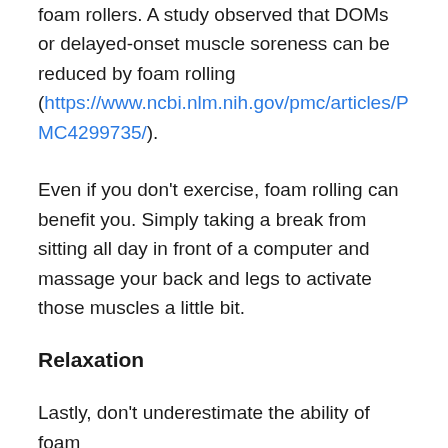foam rollers. A study observed that DOMs or delayed-onset muscle soreness can be reduced by foam rolling (https://www.ncbi.nlm.nih.gov/pmc/articles/PMC4299735/).
Even if you don't exercise, foam rolling can benefit you. Simply taking a break from sitting all day in front of a computer and massage your back and legs to activate those muscles a little bit.
Relaxation
Lastly, don't underestimate the ability of foam